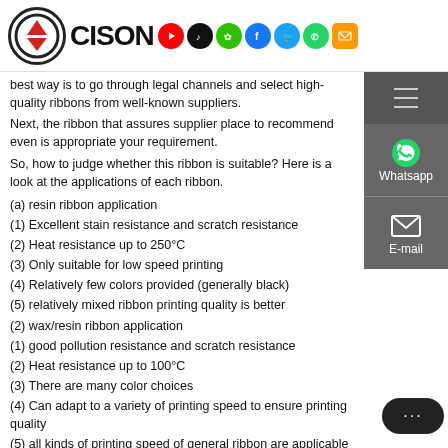CISON [logo with social media icons]
best way is to go through legal channels and select high-quality ribbons from well-known suppliers.
Next, the ribbon that assures supplier place to recommend even is appropriate your requirement.
So, how to judge whether this ribbon is suitable? Here is a look at the applications of each ribbon.
(a) resin ribbon application
(1) Excellent stain resistance and scratch resistance
(2) Heat resistance up to 250°C
(3) Only suitable for low speed printing
(4) Relatively few colors provided (generally black)
(5) relatively mixed ribbon printing quality is better
(2) wax/resin ribbon application
(1) good pollution resistance and scratch resistance
(2) Heat resistance up to 100°C
(3) There are many color choices
(4) Can adapt to a variety of printing speed to ensure printing quality
(5) all kinds of printing speed of general ribbon are applicable
TTO ribbons usually come in two types of ink layers...